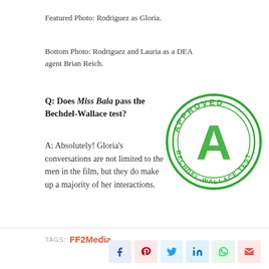Featured Photo: Rodriguez as Gloria.
Bottom Photo: Rodriguez and Lauria as a DEA agent Brian Reich.
Q: Does Miss Bala pass the Bechdel-Wallace test?
[Figure (illustration): Green circular Bechdel-Wallace Test APPROVED stamp with large letter A in center]
A: Absolutely! Gloria’s conversations are not limited to the men in the film, but they do make up a majority of her interactions.
TAGS: FF2Media